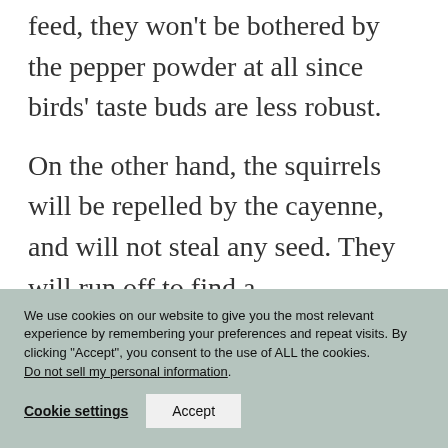feed, they won't be bothered by the pepper powder at all since birds' taste buds are less robust.
On the other hand, the squirrels will be repelled by the cayenne, and will not steal any seed. They will run off to find a
We use cookies on our website to give you the most relevant experience by remembering your preferences and repeat visits. By clicking "Accept", you consent to the use of ALL the cookies. Do not sell my personal information.